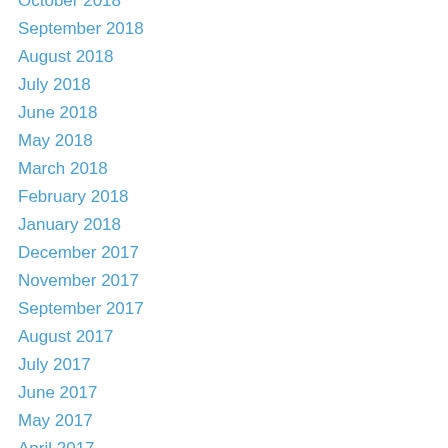October 2018
September 2018
August 2018
July 2018
June 2018
May 2018
March 2018
February 2018
January 2018
December 2017
November 2017
September 2017
August 2017
July 2017
June 2017
May 2017
April 2017
March 2017
February 2017
January 2017